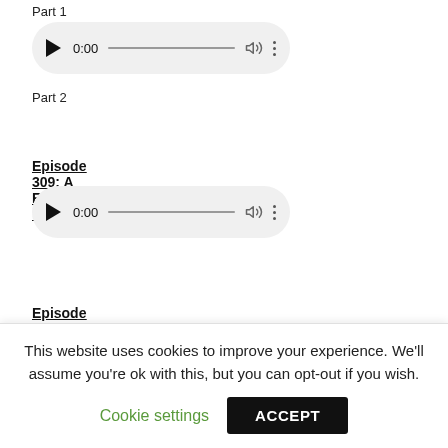Part 1
[Figure (other): Audio player widget showing 0:00 timestamp with play button, progress bar, volume icon, and more options icon]
Part 2
Episode 309: A Friend in Deed
[Figure (other): Audio player widget showing 0:00 timestamp with play button, progress bar, volume icon, and more options icon]
Episode 308: A Friend in Need
This website uses cookies to improve your experience. We'll assume you're ok with this, but you can opt-out if you wish.
Cookie settings
ACCEPT